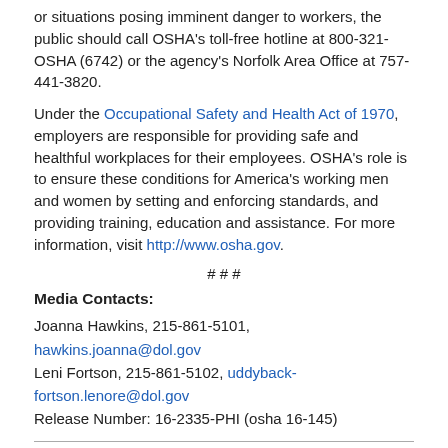or situations posing imminent danger to workers, the public should call OSHA's toll-free hotline at 800-321-OSHA (6742) or the agency's Norfolk Area Office at 757- 441-3820.
Under the Occupational Safety and Health Act of 1970, employers are responsible for providing safe and healthful workplaces for their employees. OSHA's role is to ensure these conditions for America's working men and women by setting and enforcing standards, and providing training, education and assistance. For more information, visit http://www.osha.gov.
# # #
Media Contacts:
Joanna Hawkins, 215-861-5101, hawkins.joanna@dol.gov
Leni Fortson, 215-861-5102, uddyback-fortson.lenore@dol.gov
Release Number: 16-2335-PHI (osha 16-145)
U.S. Department of Labor news materials are accessible at http://www.dol.gov. The department's Reasonable Accommodation Resource Center converts departmental information and documents into alternative formats, which include